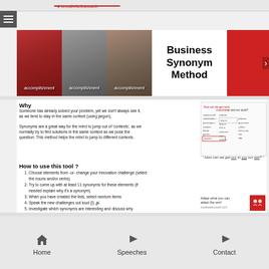Business Synonym Method website header
[Figure (screenshot): Hero banner with three photos each labeled 'accomplishment' (beauty queen, astronaut on moon, shoe tying) and a white box with text 'Business Synonym Method']
Why
Someone has already solved your problem, yet we don't always see it, as we tend to stay in the same context (using jargon). Synonyms are a great way for the mind to jump out of 'contexts', as we normally try to find solutions in the same context as we pose the question. This method helps the mind to jump to different contexts.
[Figure (infographic): Mind map/word cloud diagram showing 'How can we get more customers to visit our store?' with synonyms branching out]
" How can we get xxx to yyy our zzz? "
How to use this tool ?
Choose elements from -or- change your innovation challenge (select the nouns and/or verbs)
Try to come up with at least 11 synonyms for these elements (if needed explain why it's a synonym)
When you have created the lists, select random items
Speak the new challenges out loud {!} 🔊
Investigate which synonyms are interesting and discuss why
Copy-adapt-paste the insights to your situation
Write down your ideas!
[Figure (infographic): Small card with text 'Adapt what you can, adapt the rest!' and red box with icons]
Home    Speeches    Contact